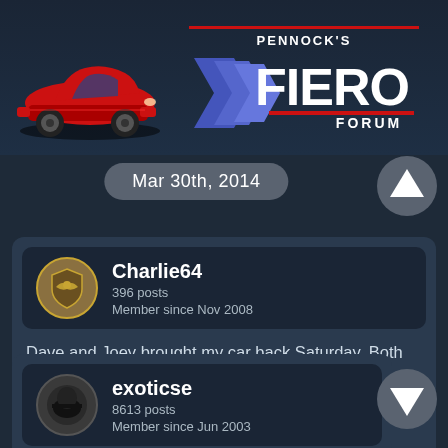[Figure (logo): Pennock's Fiero Forum logo with red Pontiac Fiero car illustration on left and blue/white FIERO text with PENNOCK'S above and FORUM below on right]
Mar 30th, 2014
[Figure (other): Circular up-arrow navigation button]
Charlie64
396 posts
Member since Nov 2008
Dave and Joey brought my car back Saturday. Both Dave and I agree it pulls harder now than it did when he put the new drivetrain and clutch in. Not sure if that means we got a "Monday" clutch from SPEC last time.
09:42 PM
exoticse
8613 posts
Member since Jun 2003
[Figure (other): Circular down-arrow navigation button]